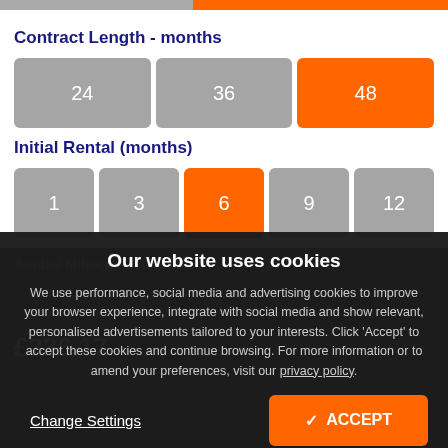Contract Length - months
24
36
48
Initial Rental (months)
1
3
6
9
12
Annual Mileage - 5,000 miles
£336.17
Our website uses cookies
We use performance, social media and advertising cookies to improve your browser experience, integrate with social media and show relevant, personalised advertisements tailored to your interests. Click 'Accept' to accept these cookies and continue browsing. For more information or to amend your preferences, visit our privacy policy.
Change Settings
✓ ACCEPT